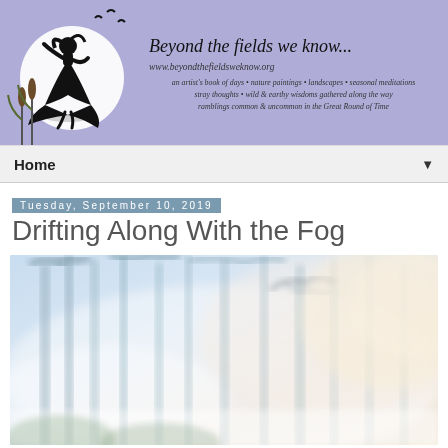[Figure (illustration): Blog header banner with lavender/periwinkle background. Left side shows a silhouette illustration of a girl dancing/jumping in front of a large white circle (moon), with birds flying and cattail reeds. Right side shows blog title text in italic handwriting style.]
Beyond the fields we know...
www.beyondthefieldsweknow.org
an artist's book of days • nature paintings • landscapes • seasonal meditations stray thoughts • wild & earthy wisdoms gathered along the way ramblings common & uncommon in the Great Round of Time
Home
Tuesday, September 10, 2019
Drifting Along With the Fog
[Figure (photo): A misty forest scene with tall trees shrouded in fog, giving a soft dreamy appearance with pale blue and warm golden-white tones. Tree silhouettes are visible through the dense fog.]